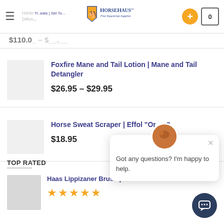HorseHaus Fine Equestrian Supplies — navigation header with hamburger menu, logo, add button, and cart
$110.0_ – $___.__
Foxfire Mane and Tail Lotion | Mane and Tail Detangler
$26.95 – $29.95
Horse Sweat Scraper | Effol "Or__"
$18.95
Got any questions? I'm happy to help.
TOP RATED
Haas Lippizaner Brush | White Horse Bru…